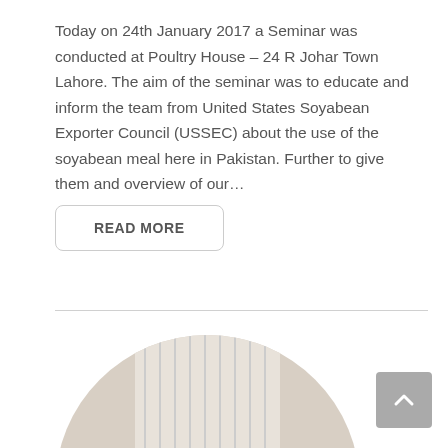Today on 24th January 2017 a Seminar was conducted at Poultry House – 24 R Johar Town Lahore. The aim of the seminar was to educate and inform the team from United States Soyabean Exporter Council (USSEC) about the use of the soyabean meal here in Pakistan. Further to give them and overview of our…
READ MORE
[Figure (photo): Circular cropped photo of three men seated at a table in a room with white curtains. The man in the center is wearing a striped shirt and holding something, the man on the left is in dark clothing, and the man on the right is in light clothing with a mustache.]